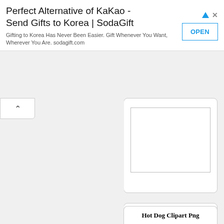[Figure (screenshot): Advertisement banner for SodaGift: 'Perfect Alternative of KaKao - Send Gifts to Korea | SodaGift'. Subtitle: 'Gifting to Korea Has Never Been Easier. Gift Whenever You Want, Wherever You Are. sodagift.com'. Blue OPEN button on right. Ad icons top right.]
[Figure (screenshot): Partially visible top card with an image placeholder (white rectangle with border) inside a white rounded card]
[Figure (screenshot): Card with title 'Hot Dog Clipart Png' in bold serif font, and a large white image placeholder box below the title]